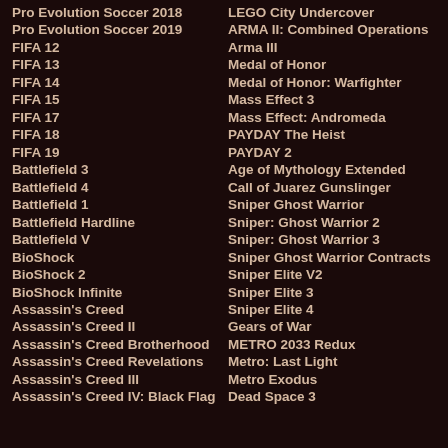Pro Evolution Soccer 2018
Pro Evolution Soccer 2019
FIFA 12
FIFA 13
FIFA 14
FIFA 15
FIFA 17
FIFA 18
FIFA 19
Battlefield 3
Battlefield 4
Battlefield 1
Battlefield Hardline
Battlefield V
BioShock
BioShock 2
BioShock Infinite
Assassin's Creed
Assassin's Creed II
Assassin's Creed Brotherhood
Assassin's Creed Revelations
Assassin's Creed III
Assassin's Creed IV: Black Flag
LEGO City Undercover
ARMA II: Combined Operations
Arma III
Medal of Honor
Medal of Honor: Warfighter
Mass Effect 3
Mass Effect: Andromeda
PAYDAY The Heist
PAYDAY 2
Age of Mythology Extended
Call of Juarez Gunslinger
Sniper Ghost Warrior
Sniper: Ghost Warrior 2
Sniper: Ghost Warrior 3
Sniper Ghost Warrior Contracts
Sniper Elite V2
Sniper Elite 3
Sniper Elite 4
Gears of War
METRO 2033 Redux
Metro: Last Light
Metro Exodus
Dead Space 3